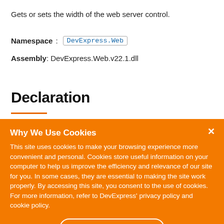Gets or sets the width of the web server control.
Namespace: DevExpress.Web
Assembly: DevExpress.Web.v22.1.dll
Declaration
[Figure (infographic): Cookie consent popup overlay with orange background. Title: 'Why We Use Cookies'. Body text about cookies. Button: 'I UNDERSTAND'.]